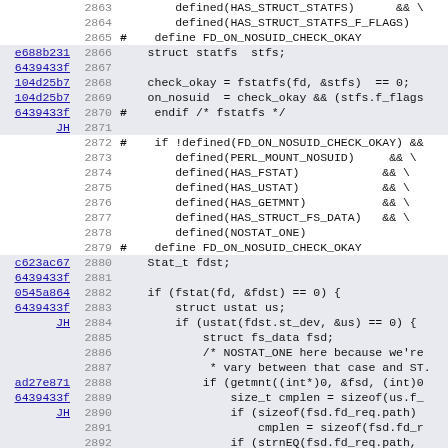[Figure (screenshot): Source code viewer showing C/Perl code lines 2863-2894 with line annotations (commit hashes) on the left, line numbers, and code content on the right. Some lines are highlighted in light blue/gray. Commit hash annotations are shown as blue underlined links.]